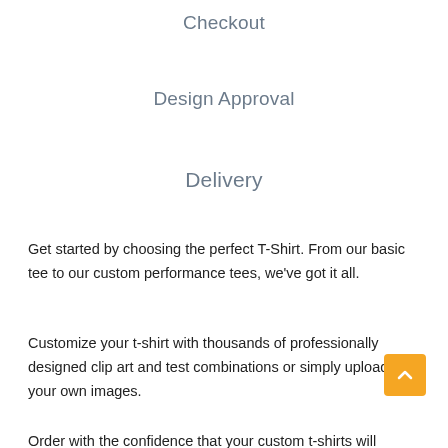Checkout
Design Approval
Delivery
Get started by choosing the perfect T-Shirt. From our basic tee to our custom performance tees, we've got it all.
Customize your t-shirt with thousands of professionally designed clip art and test combinations or simply upload your own images.
Order with the confidence that your custom t-shirts will